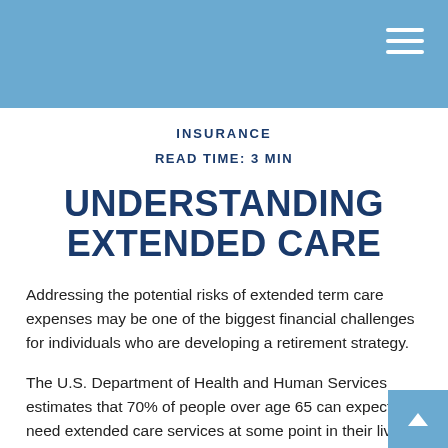INSURANCE
READ TIME: 3 MIN
UNDERSTANDING EXTENDED CARE
Addressing the potential risks of extended term care expenses may be one of the biggest financial challenges for individuals who are developing a retirement strategy.
The U.S. Department of Health and Human Services estimates that 70% of people over age 65 can expect to need extended care services at some point in their lives. So understanding the various types of extended care services – and what those services may cost – is critical as you consider your retirement approach.1